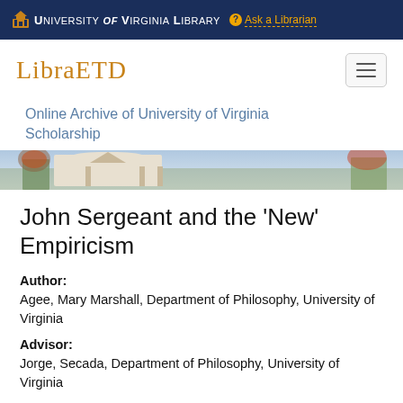University of Virginia Library  Ask a Librarian
LibraETD
Online Archive of University of Virginia Scholarship
[Figure (photo): Exterior photo of a University of Virginia building with trees in autumn foliage]
John Sergeant and the 'New' Empiricism
Author:
Agee, Mary Marshall, Department of Philosophy, University of Virginia
Advisor:
Jorge, Secada, Department of Philosophy, University of Virginia
Abstract: